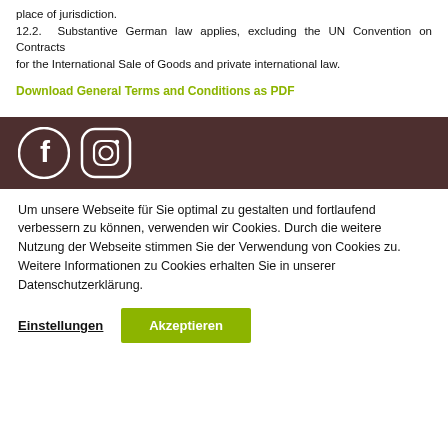place of jurisdiction.
12.2. Substantive German law applies, excluding the UN Convention on Contracts for the International Sale of Goods and private international law.
Download General Terms and Conditions as PDF
[Figure (other): Dark brown footer bar with Facebook and Instagram social media icons in white]
Um unsere Webseite für Sie optimal zu gestalten und fortlaufend verbessern zu können, verwenden wir Cookies. Durch die weitere Nutzung der Webseite stimmen Sie der Verwendung von Cookies zu. Weitere Informationen zu Cookies erhalten Sie in unserer Datenschutzerklärung.
Einstellungen   Akzeptieren